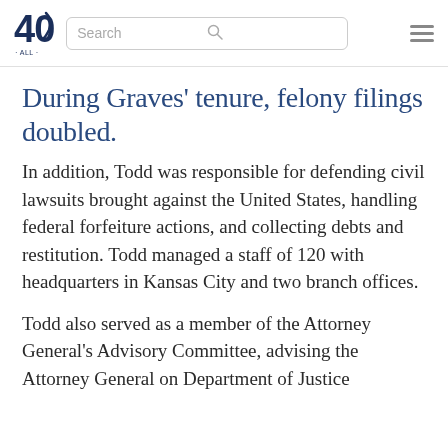40 | Search [search bar] [menu icon]
During Graves' tenure, felony filings doubled.
In addition, Todd was responsible for defending civil lawsuits brought against the United States, handling federal forfeiture actions, and collecting debts and restitution. Todd managed a staff of 120 with headquarters in Kansas City and two branch offices.
Todd also served as a member of the Attorney General's Advisory Committee, advising the Attorney General on Department of Justice